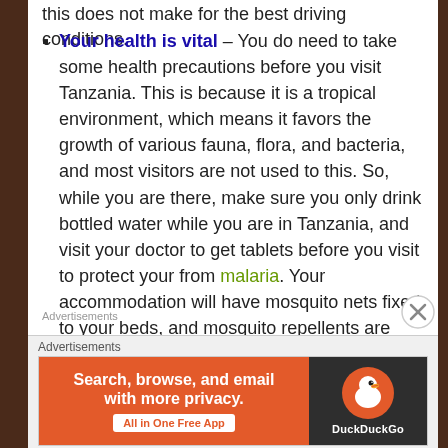this does not make for the best driving conditions.
Your health is vital – You do need to take some health precautions before you visit Tanzania. This is because it is a tropical environment, which means it favors the growth of various fauna, flora, and bacteria, and most visitors are not used to this. So, while you are there, make sure you only drink bottled water while you are in Tanzania, and visit your doctor to get tablets before you visit to protect your from malaria. Your accommodation will have mosquito nets fixed to your beds, and mosquito repellents are sprayed in each room too, but it is better to be safe than sorry.
Advertisements
[Figure (other): DuckDuckGo advertisement banner: orange left section reading 'Search, browse, and email with more privacy. All in One Free App' and dark right section with DuckDuckGo duck logo and brand name.]